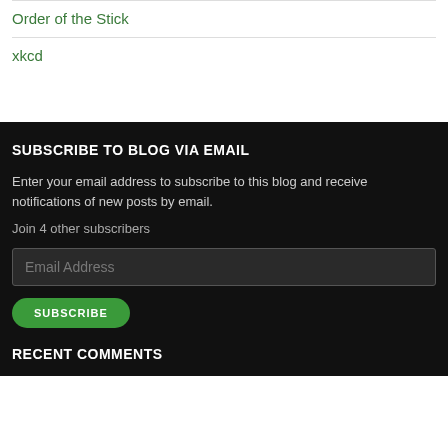Order of the Stick
xkcd
SUBSCRIBE TO BLOG VIA EMAIL
Enter your email address to subscribe to this blog and receive notifications of new posts by email.
Join 4 other subscribers
Email Address
SUBSCRIBE
RECENT COMMENTS